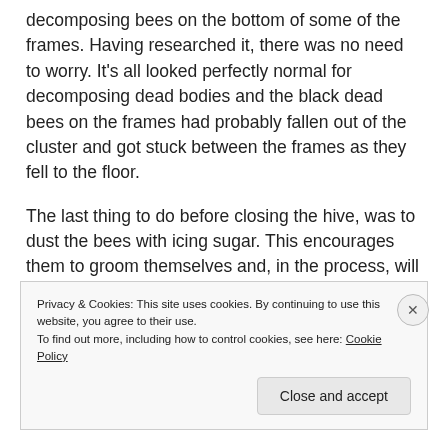decomposing bees on the bottom of some of the frames. Having researched it, there was no need to worry. It's all looked perfectly normal for decomposing dead bodies and the black dead bees on the frames had probably fallen out of the cluster and got stuck between the frames as they fell to the floor.
The last thing to do before closing the hive, was to dust the bees with icing sugar. This encourages them to groom themselves and, in the process, will increase the Varroa mite drop. I'll go back in a week and see what the count is and then take appropriate action.
Privacy & Cookies: This site uses cookies. By continuing to use this website, you agree to their use. To find out more, including how to control cookies, see here: Cookie Policy
Close and accept